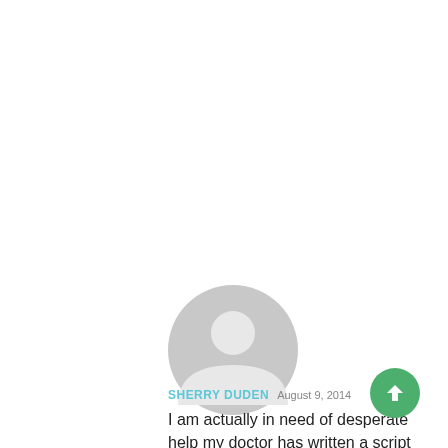[Figure (illustration): Default user avatar icon — grey silhouette of a person (head circle and shoulders arc) on white background]
SHERRY DUDEN  August 9, 2014
I am actually in need of desperate help my doctor has written a script